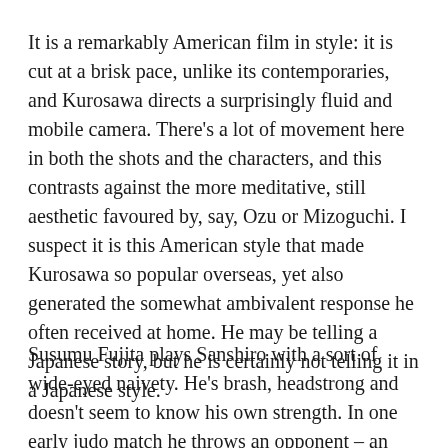It is a remarkably American film in style: it is cut at a brisk pace, unlike its contemporaries, and Kurosawa directs a surprisingly fluid and mobile camera. There's a lot of movement here in both the shots and the characters, and this contrasts against the more meditative, still aesthetic favoured by, say, Ozu or Mizoguchi. I suspect it is this American style that made Kurosawa so popular overseas, yet also generated the somewhat ambivalent response he often received at home. He may be telling a Japanese story, but he is certainly not telling it in a Japanese style.
Susumu Fujita plays Sanshiro with a sort of wide-eyed naivety. He's brash, headstrong and doesn't seem to know his own strength. In one early judo match he throws an opponent – an unlikeable,